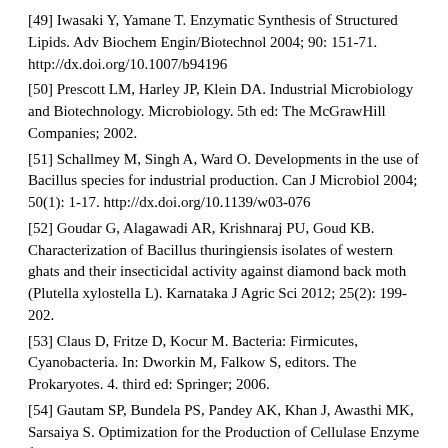[49] Iwasaki Y, Yamane T. Enzymatic Synthesis of Structured Lipids. Adv Biochem Engin/Biotechnol 2004; 90: 151-71. http://dx.doi.org/10.1007/b94196
[50] Prescott LM, Harley JP, Klein DA. Industrial Microbiology and Biotechnology. Microbiology. 5th ed: The McGrawHill Companies; 2002.
[51] Schallmey M, Singh A, Ward O. Developments in the use of Bacillus species for industrial production. Can J Microbiol 2004; 50(1): 1-17. http://dx.doi.org/10.1139/w03-076
[52] Goudar G, Alagawadi AR, Krishnaraj PU, Goud KB. Characterization of Bacillus thuringiensis isolates of western ghats and their insecticidal activity against diamond back moth (Plutella xylostella L). Karnataka J Agric Sci 2012; 25(2): 199-202.
[53] Claus D, Fritze D, Kocur M. Bacteria: Firmicutes, Cyanobacteria. In: Dworkin M, Falkow S, editors. The Prokaryotes. 4. third ed: Springer; 2006.
[54] Gautam SP, Bundela PS, Pandey AK, Khan J, Awasthi MK, Sarsaiya S. Optimization for the Production of Cellulase Enzyme from Municipal SolidWaste Residue by Two Novel Cellulolytic Fungi. Biotechnology Research International